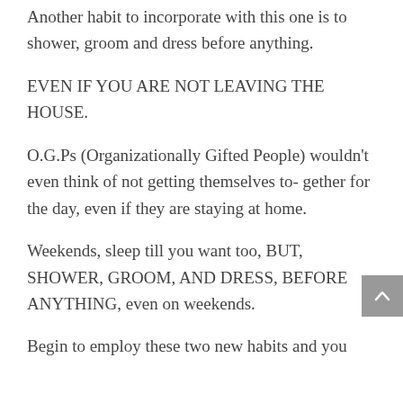Another habit to incorporate with this one is to shower, groom and dress before anything.
EVEN IF YOU ARE NOT LEAVING THE HOUSE.
O.G.Ps (Organizationally Gifted People) wouldn't even think of not getting themselves to- gether for the day, even if they are staying at home.
Weekends, sleep till you want too, BUT, SHOWER, GROOM, AND DRESS, BEFORE ANYTHING, even on weekends.
Begin to employ these two new habits and you